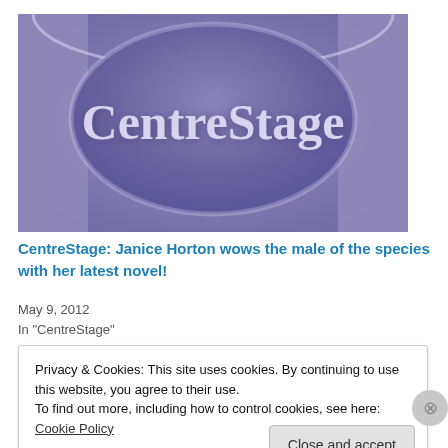[Figure (logo): CentreStage website banner logo with purple theatre curtain background and large serif text reading 'CentreStage']
CentreStage: Janice Horton wows the male of the species with her latest novel!
May 9, 2012
In "CentreStage"
Privacy & Cookies: This site uses cookies. By continuing to use this website, you agree to their use.
To find out more, including how to control cookies, see here: Cookie Policy